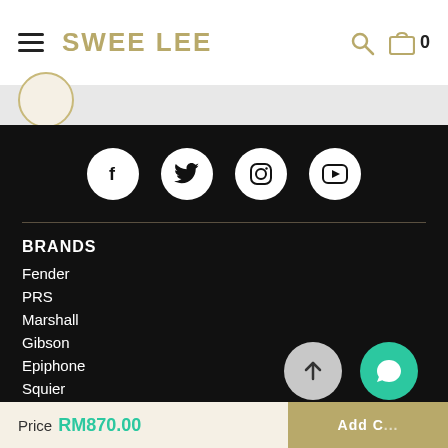SWEE LEE
[Figure (screenshot): Social media icons: Facebook, Twitter, Instagram, YouTube in white circles on black background]
BRANDS
Fender
PRS
Marshall
Gibson
Epiphone
Squier
View All
Price RM870.00
Add to Cart